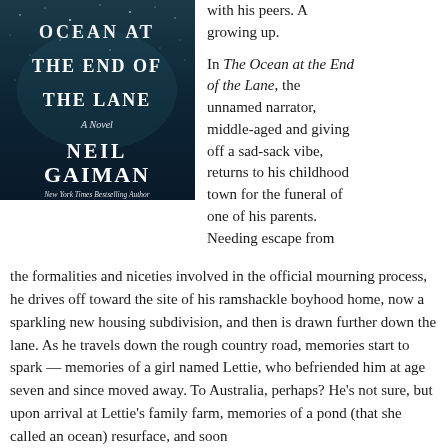[Figure (photo): Book cover of 'Ocean at the End of the Lane' by Neil Gaiman. Dark blue/teal starry night sky background with white text. Title reads 'OCEAN AT THE END OF THE LANE' with subtitle 'A Novel' and author name 'NEIL GAIMAN'. Bottom text reads 'New York Times Bestselling Author'.]
with his peers. A growing up.
In The Ocean at the End of the Lane, the unnamed narrator, middle-aged and giving off a sad-sack vibe, returns to his childhood town for the funeral of one of his parents. Needing escape from the formalities and niceties involved in the official mourning process, he drives off toward the site of his ramshackle boyhood home, now a sparkling new housing subdivision, and then is drawn further down the lane. As he travels down the rough country road, memories start to spark — memories of a girl named Lettie, who befriended him at age seven and since moved away. To Australia, perhaps? He's not sure, but upon arrival at Lettie's family farm, memories of a pond (that she called an ocean) resurface, and soon